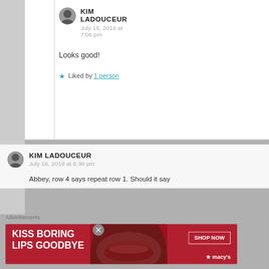KIM LADOUCEUR
July 16, 2019 at 7:06 pm

Looks good!
Liked by 1 person
KIM LADOUCEUR
July 16, 2019 at 6:36 pm

Abbey, row 4 says repeat row 1. Should it say
Advertisements
[Figure (illustration): Macy's advertisement banner: red background, woman's face with red lips, text 'KISS BORING LIPS GOODBYE', 'SHOP NOW' button, Macy's star logo]